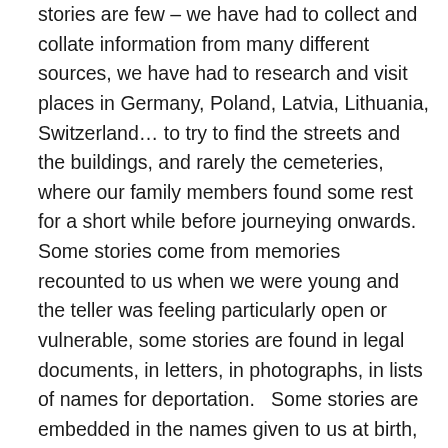stories are few – we have had to collect and collate information from many different sources, we have had to research and visit places in Germany, Poland, Latvia, Lithuania, Switzerland… to try to find the streets and the buildings, and rarely the cemeteries, where our family members found some rest for a short while before journeying onwards.  Some stories come from memories recounted to us when we were young and the teller was feeling particularly open or vulnerable, some stories are found in legal documents, in letters, in photographs, in lists of names for deportation.   Some stories are embedded in the names given to us at birth, in recipes, in particular family traditions. My family, like the families of many like us in the UK and America, have made deep roots in a very short time in the new places we live in now, others find themselves unable to come back from the violent